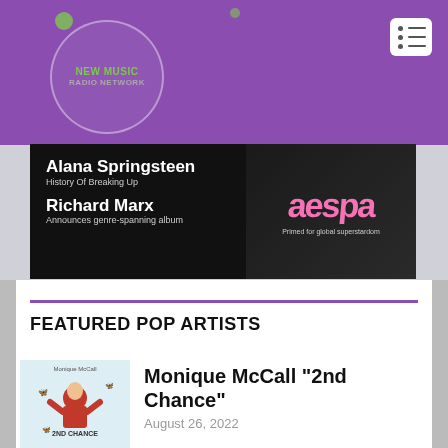[Figure (logo): New Music Radio Network logo in purple header with circular design and green text]
[Figure (illustration): Banner with Alana Springsteen and Richard Marx text on left, aespa pink stylized logo on right with tagline 'Primed for global superstardom']
FEATURED POP ARTISTS
[Figure (photo): Monique McCall 2nd Chance album cover showing person in red shirt with butterflies]
Monique McCall “2nd Chance”
August 26, 2022